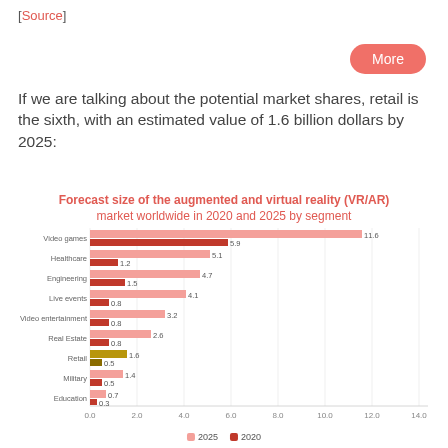[Source]
More
If we are talking about the potential market shares, retail is the sixth, with an estimated value of 1.6 billion dollars by 2025:
Forecast size of the augmented and virtual reality (VR/AR) market worldwide in 2020 and 2025 by segment
[Figure (grouped-bar-chart): Forecast size of the augmented and virtual reality (VR/AR) market worldwide in 2020 and 2025 by segment]